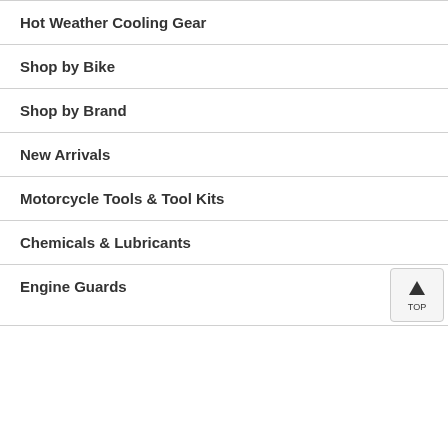Hot Weather Cooling Gear
Shop by Bike
Shop by Brand
New Arrivals
Motorcycle Tools & Tool Kits
Chemicals & Lubricants
Engine Guards